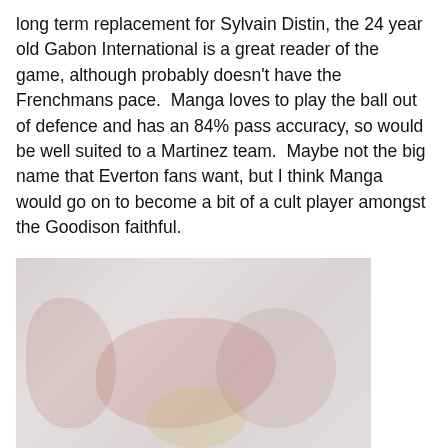long term replacement for Sylvain Distin, the 24 year old Gabon International is a great reader of the game, although probably doesn't have the Frenchmans pace.  Manga loves to play the ball out of defence and has an 84% pass accuracy, so would be well suited to a Martinez team.  Maybe not the big name that Everton fans want, but I think Manga would go on to become a bit of a cult player amongst the Goodison faithful.
[Figure (photo): A faded/washed-out photo of a footballer, mostly in reds and greys, difficult to make out details.]
Bernard “Junior” Malanda-Adje